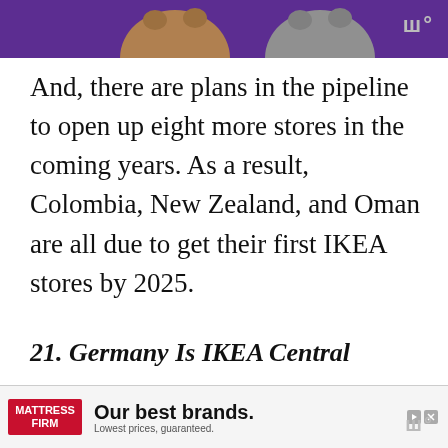[Figure (photo): Top banner showing partial cat images on a purple background]
And, there are plans in the pipeline to open up eight more stores in the coming years. As a result, Colombia, New Zealand, and Oman are all due to get their first IKEA stores by 2025.
21. Germany Is IKEA Central
While the US has its fair share of IKEA locations, it's Germany that has the most. The country is home to 53 IKEA st
[Figure (screenshot): Mattress Firm advertisement banner at bottom: 'Our best brands. Lowest prices, guaranteed.']